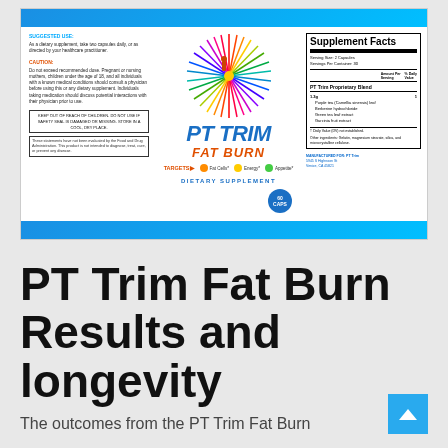[Figure (photo): PT Trim Fat Burn dietary supplement product label showing Supplement Facts panel, suggested use, caution text, colorful starburst graphic, and PT TRIM FAT BURN branding. 60 capsules dietary supplement.]
PT Trim Fat Burn Results and longevity
The outcomes from the PT Trim Fat Burn